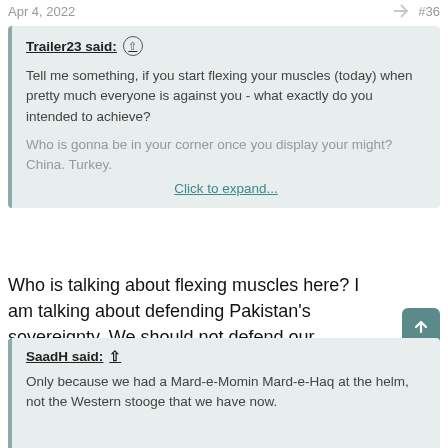Apr 4, 2022   #36
Trailer23 said: ↑
Tell me something, if you start flexing your muscles (today) when pretty much everyone is against you - what exactly do you intended to achieve?

Who is gonna be in your corner once you display your might?
China. Turkey.

Click to expand...
Who is talking about flexing muscles here? I am talking about defending Pakistan's sovereignty. We should not defend our sovereigty because somebody is going to sanction us? You are going on to a totally different subject.
SaadH said: ↑
Only because we had a Mard-e-Momin Mard-e-Haq at the helm, not the Western stooge that we have now.